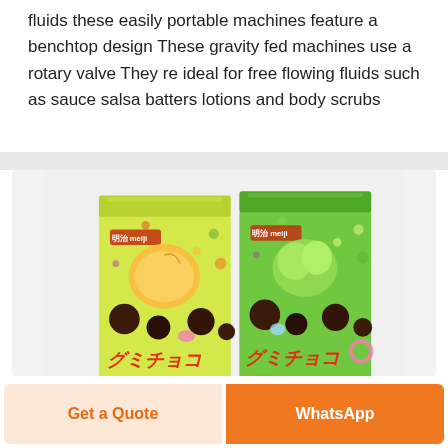fluids these easily portable machines feature a benchtop design These gravity fed machines use a rotary valve They re ideal for free flowing fluids such as sauce salsa batters lotions and body scrubs
[Figure (photo): Two Meiji Gummy Choco candy packages side by side — one yellow/mango-themed and one green/muscat-themed, showing colorful gummy and chocolate candies on the packaging]
Get a Quote
WhatsApp